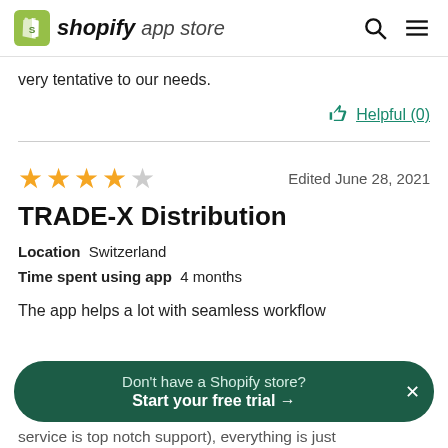shopify app store
very tentative to our needs.
Helpful (0)
★★★★☆  Edited June 28, 2021
TRADE-X Distribution
Location  Switzerland
Time spent using app  4 months
The app helps a lot with seamless workflow
Don't have a Shopify store?
Start your free trial →
service is top notch support), everything is just